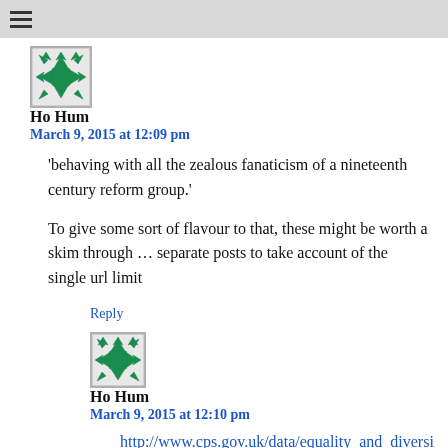☰
[Figure (illustration): Green decorative avatar icon with geometric pattern]
Ho Hum
March 9, 2015 at 12:09 pm
'behaving with all the zealous fanaticism of a nineteenth century reform group.'
To give some sort of flavour to that, these might be worth a skim through … separate posts to take account of the single url limit
Reply
[Figure (illustration): Green decorative avatar icon with geometric pattern]
Ho Hum
March 9, 2015 at 12:10 pm
http://www.cps.gov.uk/data/equality_and_diversi